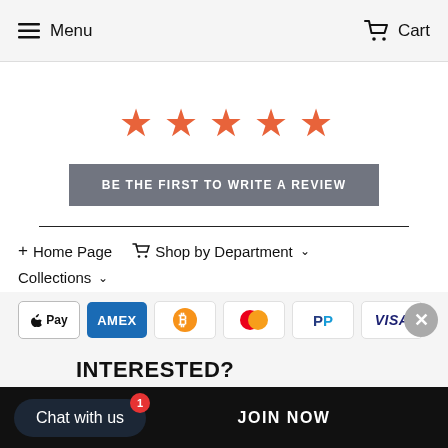Menu  Cart
[Figure (other): Five orange star rating icons]
BE THE FIRST TO WRITE A REVIEW
+ Home Page  Cart Shop by Department ˅  Collections ˅
[Figure (other): Payment icons: Apple Pay, AMEX, Bitcoin, Mastercard, PayPal, VISA]
INTERESTED?
Chat with us  JOIN NOW